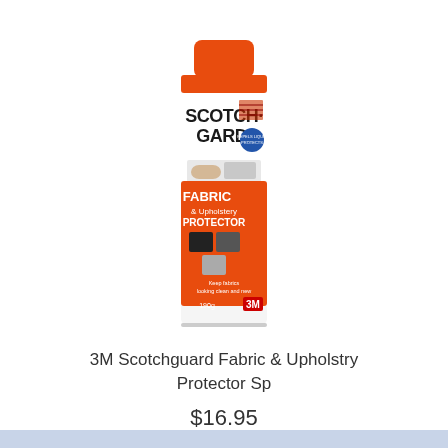[Figure (photo): 3M Scotchgard Fabric & Upholstery Protector spray can. Orange/red aerosol can with orange cap. Label reads SCOTCH-GARD FABRIC & Upholstery PROTECTOR. Shows images of suit jacket, car interior, and clothing. 190g. 3M logo at bottom.]
3M Scotchguard Fabric & Upholstry Protector Sp
$16.95